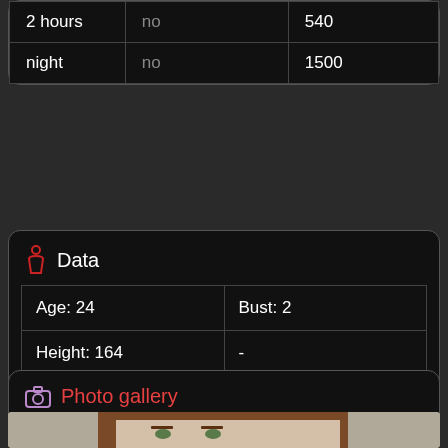|  |  |  |
| --- | --- | --- |
| 2 hours | no | 540 |
| night | no | 1500 |
Data
| Age: 24 | Bust: 2 |
| Height: 164 | - |
| Weight: 54 | - |
Photo gallery
[Figure (photo): Partial photo of a young woman with long brown hair, visible from forehead to chin, lying on a bed.]